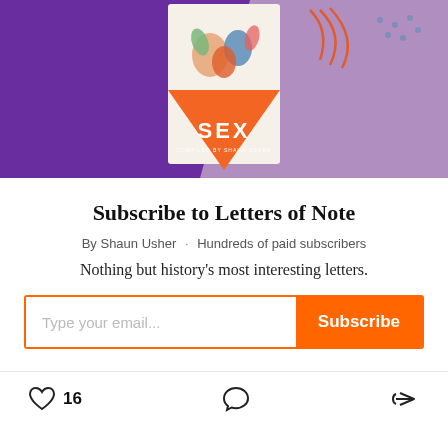[Figure (photo): Book cover photo of 'SEX compiled by Shaun Usher' on a purple geometric background. The book cover shows colorful illustrated hands on an orange triangle shape with 'SEX' in white letters.]
Subscribe to Letters of Note
By Shaun Usher · Hundreds of paid subscribers
Nothing but history's most interesting letters.
Type your email... Subscribe
16